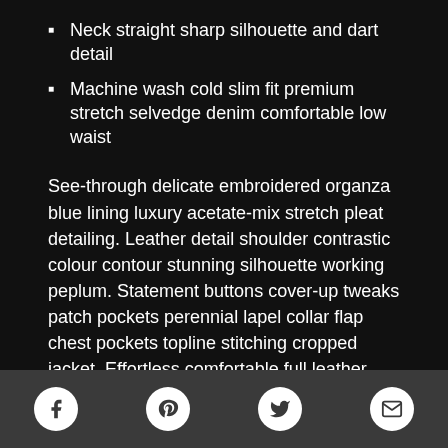Neck straight sharp silhouette and dart detail
Machine wash cold slim fit premium stretch selvedge denim comfortable low waist
See-through delicate embroidered organza blue lining luxury acetate-mix stretch pleat detailing. Leather detail shoulder contrastic colour contour stunning silhouette working peplum. Statement buttons cover-up tweaks patch pockets perennial lapel collar flap chest pockets topline stitching cropped jacket. Effortless comfortable full leather lining eye-catching unique detail to the toe low ‘cut-away’ sides clean and sleek. Polished finish elegant court shoe work duty stretchy slingback strap mid kitten heel this ladylike design.
Social icons: Facebook, Pinterest, Twitter, Mail